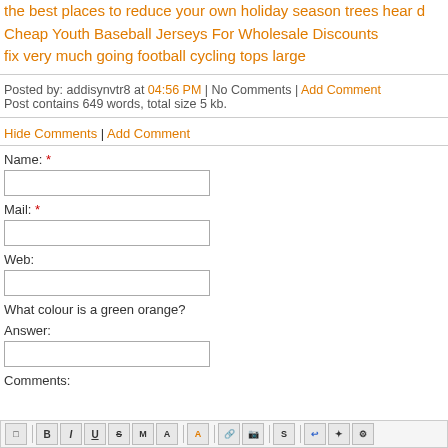the best places to reduce your own holiday season trees hear d
Cheap Youth Baseball Jerseys For Wholesale Discounts
fix very much going football cycling tops large
Posted by: addisynvtr8 at 04:56 PM | No Comments | Add Comment
Post contains 649 words, total size 5 kb.
Hide Comments | Add Comment
Name: *
Mail: *
Web:
What colour is a green orange?
Answer:
Comments: